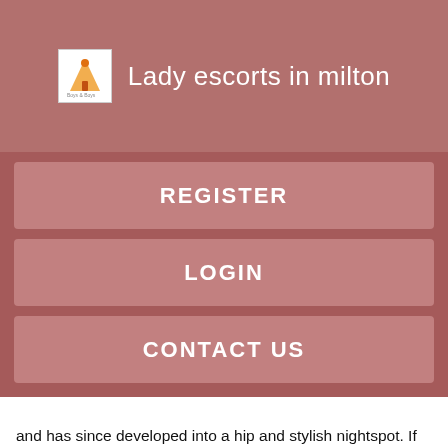Lady escorts in milton
REGISTER
LOGIN
CONTACT US
and has since developed into a hip and stylish nightspot. If you are looking for an unforgettable moment you found the right woman! Come over and play with me and you will be happy I promise!!!!! If you have the chance free chat line numbers in my area spend a few hours with your escort in leisurely exploration, any one of these places will definitely be worth checking out.
If u give real independent escorts a pen, you will get a poorly done stick figure. I believe in giving a genuine experience as